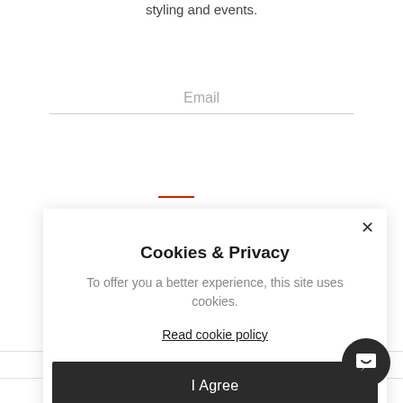styling and events.
Email
Cookies & Privacy
To offer you a better experience, this site uses cookies.
Read cookie policy
I Agree